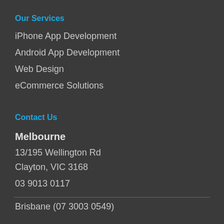Our Services
iPhone App Development
Android App Development
Web Design
eCommerce Solutions
Contact Us
Melbourne
13/195 Wellington Rd
Clayton, VIC 3168
03 9013 0117
Brisbane (07 3003 0549)